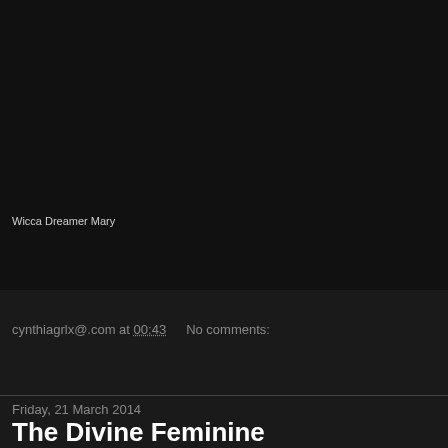[Figure (photo): Dark background image area — predominantly black/very dark, appears to be a photo with very low exposure or dark scene]
Wicca Dreamer Mary
cynthiagrlx@.com at 00:43   No comments:
Share
Friday, 21 March 2014
The Divine Feminine